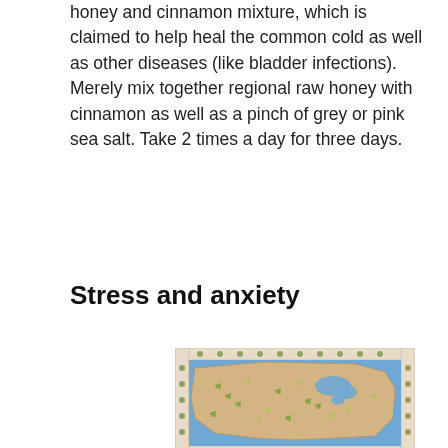honey and cinnamon mixture, which is claimed to help heal the common cold as well as other diseases (like bladder infections). Merely mix together regional raw honey with cinnamon as well as a pinch of grey or pink sea salt. Take 2 times a day for three days.
Stress and anxiety
[Figure (map): A decorative map of North America with illustrated herbs and plants scattered across regions, with blue water bodies and an orange/tan land mass, surrounded by a border of small botanical illustrations.]